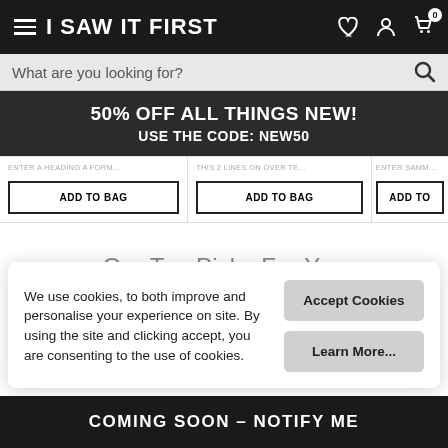I SAW IT FIRST
What are you looking for?
50% OFF ALL THINGS NEW! USE THE CODE: NEW50
ADD TO BAG
ADD TO BAG
ADD TO
Our Top Picks For You
We use cookies, to both improve and personalise your experience on site. By using the site and clicking accept, you are consenting to the use of cookies.
Accept Cookies
Learn More...
COMING SOON – NOTIFY ME